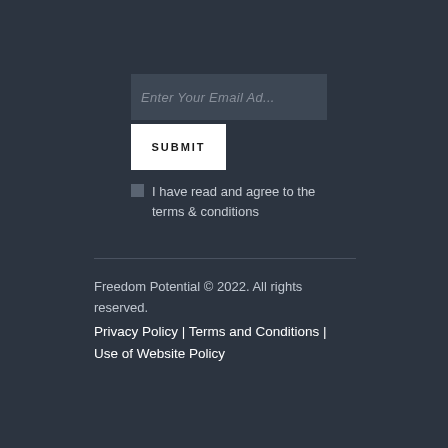Enter Your Email Ad...
SUBMIT
I have read and agree to the terms & conditions
Freedom Potential © 2022. All rights reserved.
Privacy Policy | Terms and Conditions | Use of Website Policy